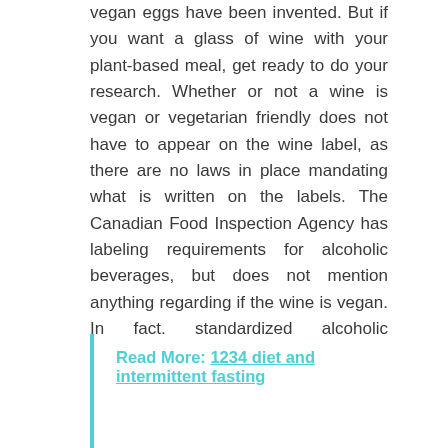vegan eggs have been invented. But if you want a glass of wine with your plant-based meal, get ready to do your research. Whether or not a wine is vegan or vegetarian friendly does not have to appear on the wine label, as there are no laws in place mandating what is written on the labels. The Canadian Food Inspection Agency has labeling requirements for alcoholic beverages, but does not mention anything regarding if the wine is vegan. In fact, standardized alcoholic beverages are entirely exempt from the requirement to show an ingredients list. In the United States, where wine labels are under the jurisdiction of the Alcohol and Tobacco Tax and Trade Bureau, not the Food and Drug Administration, nutritional and ingredient labels are also not required. We know wine is typically an alcoholic drink created from fermented grape juice and made by pressing crushed grapes.
Read More: 1234 diet and intermittent fasting